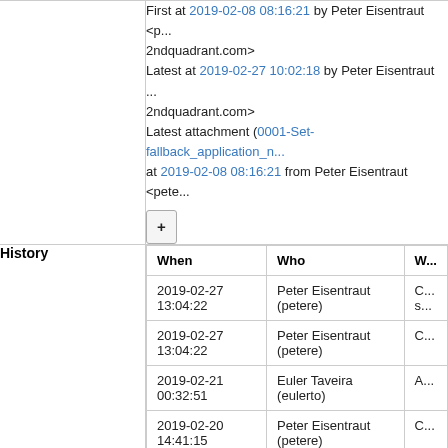First at 2019-02-08 08:16:21 by Peter Eisentraut <p...2ndquadrant.com>
Latest at 2019-02-27 10:02:18 by Peter Eisentraut ...2ndquadrant.com>
Latest attachment (0001-Set-fallback_application_n...) at 2019-02-08 08:16:21 from Peter Eisentraut <pete...
| When | Who | W... |
| --- | --- | --- |
| 2019-02-27 13:04:22 | Peter Eisentraut (petere) | C... s... |
| 2019-02-27 13:04:22 | Peter Eisentraut (petere) | C... |
| 2019-02-21 00:32:51 | Euler Taveira (eulerto) | A... |
| 2019-02-20 14:41:15 | Peter Eisentraut (petere) | C... |
| 2019-02-20 14:41:15 | Peter Eisentraut (petere) | C... |
Edit  Comment/Review  Change Status